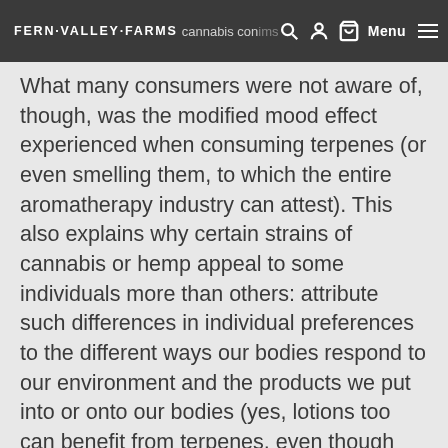FERN VALLEY FARMS  Menu
What many consumers were not aware of, though, was the modified mood effect experienced when consuming terpenes (or even smelling them, to which the entire aromatherapy industry can attest). This also explains why certain strains of cannabis or hemp appeal to some individuals more than others: attribute such differences in individual preferences to the different ways our bodies respond to our environment and the products we put into or onto our bodies (yes, lotions too can benefit from terpenes, even though our skin doesn't have taste buds). Just like some prefer chocolate over vanilla, or revile tomatoes and love